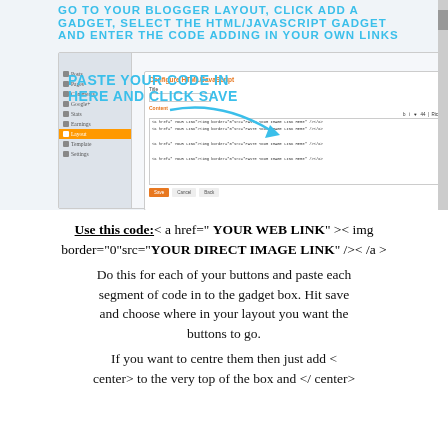[Figure (screenshot): Screenshot of Blogger layout interface showing the HTML/JavaScript gadget configuration panel, with hand-drawn blue text overlaid reading 'GO TO YOUR BLOGGER LAYOUT, CLICK ADD A GADGET, SELECT THE HTML/JAVASCRIPT GADGET AND ENTER THE CODE ADDING IN YOUR OWN LINKS' and 'PASTE YOUR CODE IN HERE AND CLICK SAVE' with a blue arrow pointing to the content box.]
Use this code:< a href=" YOUR WEB LINK" >< img border="0"src="YOUR DIRECT IMAGE LINK" />< /a >
Do this for each of your buttons and paste each segment of code in to the gadget box. Hit save and choose where in your layout you want the buttons to go.
If you want to centre them then just add < center> to the very top of the box and </ center>